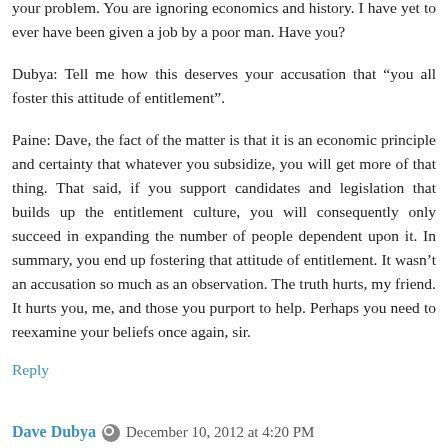your problem. You are ignoring economics and history. I have yet to ever have been given a job by a poor man. Have you?
Dubya: Tell me how this deserves your accusation that “you all foster this attitude of entitlement”.
Paine: Dave, the fact of the matter is that it is an economic principle and certainty that whatever you subsidize, you will get more of that thing. That said, if you support candidates and legislation that builds up the entitlement culture, you will consequently only succeed in expanding the number of people dependent upon it. In summary, you end up fostering that attitude of entitlement. It wasn’t an accusation so much as an observation. The truth hurts, my friend. It hurts you, me, and those you purport to help. Perhaps you need to reexamine your beliefs once again, sir.
Reply
Dave Dubya ● December 10, 2012 at 4:20 PM
TP,